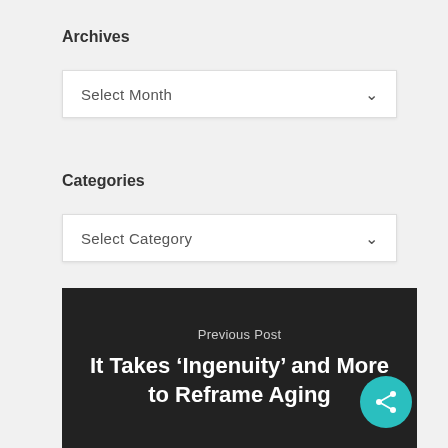Archives
Select Month
Categories
Select Category
Previous Post
It Takes ‘Ingenuity’ and More to Reframe Aging